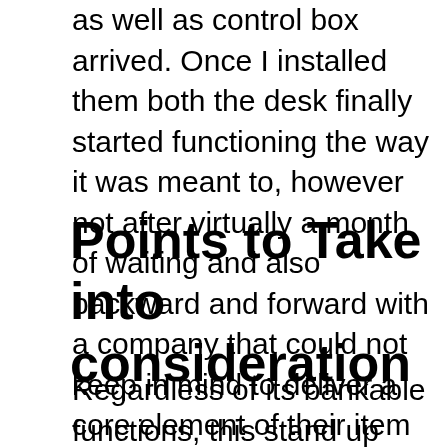as well as control box arrived. Once I installed them both the desk finally started functioning the way it was meant to, however not after virtually a month of waiting and also backward and forward with a company that could not keep in mind to deliver a core element of their item inside the same box from the outset.
Points to Take into consideration
Regardless of its bankable functions, this stand up workdesk additionally has its very own downsides. Since no particular stand workdesk can capture all of the functions that you might require, you might take into